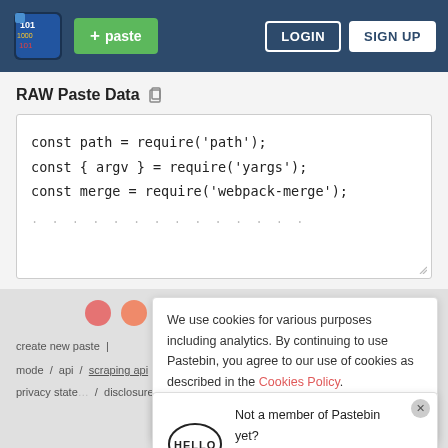Pastebin header with logo, + paste button, LOGIN and SIGN UP buttons
RAW Paste Data
const path = require('path');
const { argv } = require('yargs');
const merge = require('webpack-merge');
[Figure (screenshot): Social sharing icon circles row]
We use cookies for various purposes including analytics. By continuing to use Pastebin, you agree to our use of cookies as described in the Cookies Policy. OK, I Understand
create new | mode / api / scraping api / news / pro
privacy state / disclosure /
Not a member of Pastebin yet? Sign Up, it unlocks many cool features!